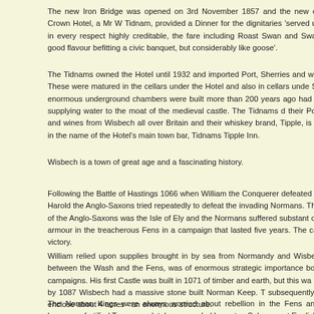The new Iron Bridge was opened on 3rd November 1857 and the new owner of the Crown Hotel, a Mr W Tidnam, provided a Dinner for the dignitaries 'served up in the and in every respect highly creditable, the fare including Roast Swan and Swan gible very good flavour befitting a civic banquet, but considerably like goose'.
The Tidnams owned the Hotel until 1932 and imported Port, Sherries and wine up Nene. These were matured in the cellars under the Hotel and also in cellars unde Street. These enormous underground chambers were built more than 200 years ago had been the cut supplying water to the moat of the medieval castle. The Tidnams d their Ports, Sherries and wines from Wisbech all over Britain and their whiskey brand, Tipple, is remembered in the name of the Hotel's main town bar, Tidnams Tipple Inn.
Wisbech is a town of great age and a fascinating history.
Following the Battle of Hastings 1066 when William the Conquerer defeated the Ang King Harold the Anglo-Saxons tried repeatedly to defeat the invading Normans. The stronghold of the Anglo-Saxons was the Isle of Ely and the Normans suffered substant of horses and armour in the treacherous Fens in a campaign that lasted five years. Th came close to victory.
William relied upon supplies brought in by sea from Normandy and Wisbech, the gate between the Wash and the Fens, was of enormous strategic importance both during his campaigns. His first Castle was built in 1071 of timber and earth, but this wa replaced and by 1087 Wisbech had a massive stone built Norman Keep. T subsequently extended to enclose about 4 acres - an enormous structure.
The Norman Kings were always worried about rebellion in the Fens and eventually became a fortified Town completely surrounded by water. Subsequent English King